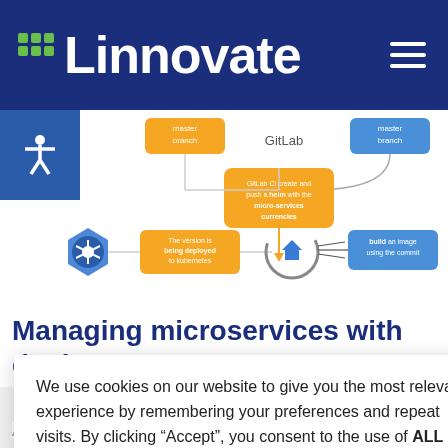Linnovate
[Figure (infographic): CI/CD pipeline diagram showing GitLab integration with Kubernetes and Docker. Includes labeled boxes: 'master branch', 'GitLab Ci create and push a helm with the micro-services currencies', 'The version is being deployed to kubernetes', 'build an image using the commit'. Shows Kubernetes logo (helm wheel), GitLab logo, and related icons with connecting arrows.]
Managing microservices with dockers
We use cookies on our website to give you the most relevant experience by remembering your preferences and repeat visits. By clicking “Accept”, you consent to the use of ALL the cookies.
Cookie settings   ACCEPT   Get Support
August 4, 2022